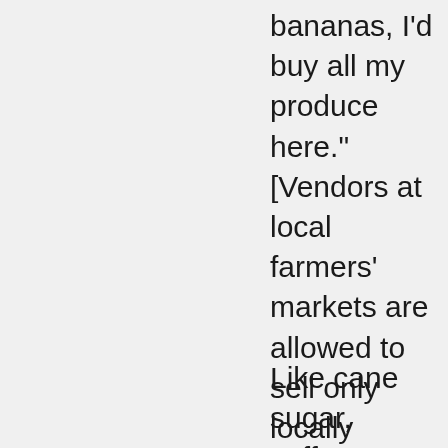bananas, I'd buy all my produce here." [Vendors at local farmers' markets are allowed to sell only locally sourced foods,]
Like cane sugar, coffee, cocoa, and other tropical crops, trade in bananas is encumbered by all sorts of colonial and neo-colonial treaties. Bananas from Jamaica go to Britain, those from Costa Rica go to the US, those from Martinique go to France. This situation is very sad for the growers